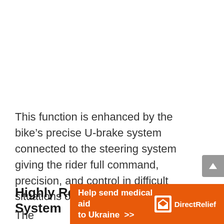This function is enhanced by the bike’s precise U-brake system connected to the steering system giving the rider full command, precision, and control in difficult situations or emergencies.
Highly Responsive Steering System
The… (clipped)
[Figure (other): Orange advertisement banner for Direct Relief: 'Help send medical aid to Ukraine >>' with Direct Relief logo on the right]